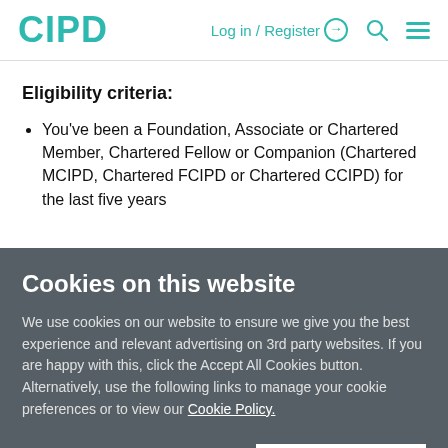CIPD | Log in / Register | Search | Menu
Eligibility criteria:
You've been a Foundation, Associate or Chartered Member, Chartered Fellow or Companion (Chartered MCIPD, Chartered FCIPD or Chartered CCIPD) for the last five years
Cookies on this website
We use cookies on our website to ensure we give you the best experience and relevant advertising on 3rd party websites. If you are happy with this, click the Accept All Cookies button. Alternatively, use the following links to manage your cookie preferences or to view our Cookie Policy.
Cookies Settings | Accept All Cookies